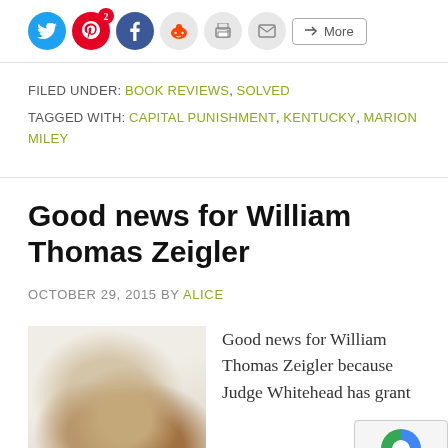[Figure (other): Social sharing icons: Twitter, Pinterest (with badge 2), Facebook, Reddit, Print, Email, and a More button]
FILED UNDER: BOOK REVIEWS, SOLVED
TAGGED WITH: CAPITAL PUNISHMENT, KENTUCKY, MARION MILEY
Good news for William Thomas Zeigler
OCTOBER 29, 2015 BY ALICE
[Figure (photo): A photo showing what appears to be a stained white fabric or garment with brown marks]
Good news for William Thomas Zeigler because Judge Whitehead has grant...